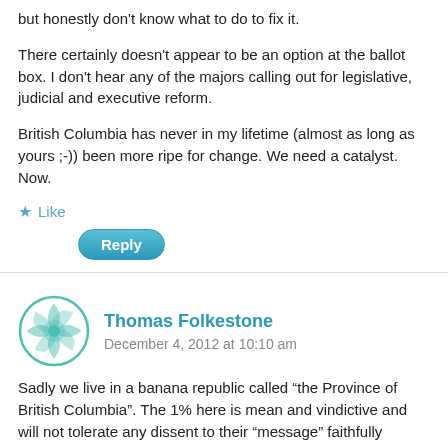but honestly don't know what to do to fix it.
There certainly doesn't appear to be an option at the ballot box. I don't hear any of the majors calling out for legislative, judicial and executive reform.
British Columbia has never in my lifetime (almost as long as yours ;-)) been more ripe for change. We need a catalyst. Now.
★ Like
Reply
Thomas Folkestone
December 4, 2012 at 10:10 am
Sadly we live in a banana republic called “the Province of British Columbia”. The 1% here is mean and vindictive and will not tolerate any dissent to their “message” faithfully advanced by the Bill Goods and the Vaugn Palmers of the world. The Vancouver Stun is not fit for wrapping fish, and The Province has never been worth the paper it's printed on. But they buy their